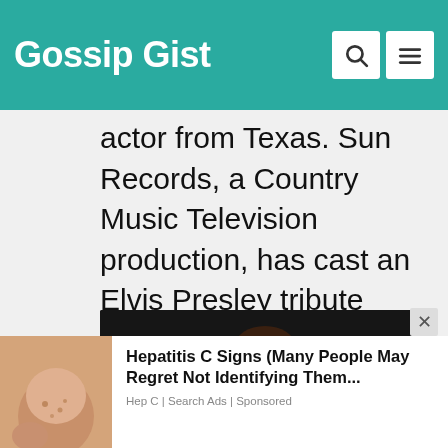Gossip Gist
actor from Texas. Sun Records, a Country Music Television production, has cast an Elvis Presley tribute artist to play "The Ki [...]
[Figure (photo): Dark background photo of a woman with glasses and brown hair]
Hepatitis C Signs (Many People May Regret Not Identifying Them... Hep C | Search Ads | Sponsored